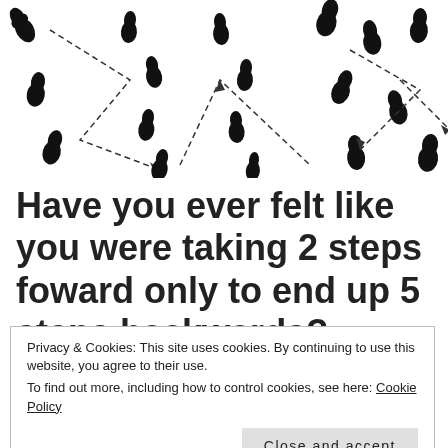[Figure (illustration): Scattered footprint icons (shoe soles) with dashed arrow lines indicating walking paths in various directions on a white background, top portion of page.]
Have you ever felt like you were taking 2 steps foward only to end up 5 steps backwards?
Privacy & Cookies: This site uses cookies. By continuing to use this website, you agree to their use.
To find out more, including how to control cookies, see here: Cookie Policy
Close and accept
[Figure (illustration): Partial footprint icons at the very bottom of the page, same style as top image.]